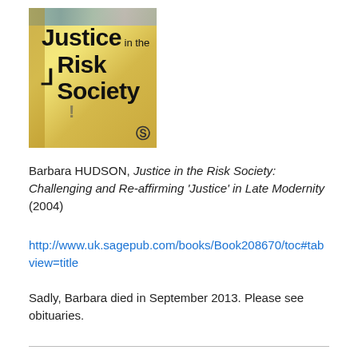[Figure (illustration): Book cover for 'Justice in the Risk Society' — yellow/gold mosaic background with bold black title text and a colored photo strip at top. Publisher logo at bottom right.]
Barbara HUDSON, Justice in the Risk Society: Challenging and Re-affirming 'Justice' in Late Modernity (2004)
http://www.uk.sagepub.com/books/Book208670/toc#tabview=title
Sadly, Barbara died in September 2013. Please see obituaries.